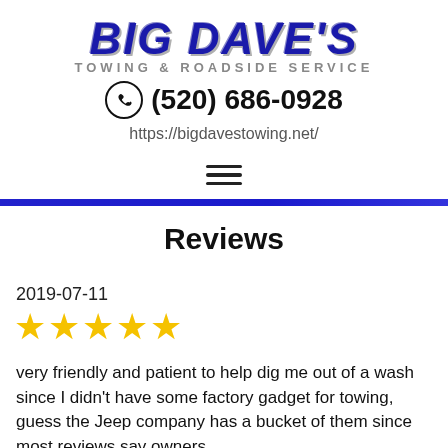[Figure (logo): Big Dave's Towing & Roadside Service logo with stylized bold blue italic text and gray subtitle]
(520) 686-0928
https://bigdavestowing.net/
[Figure (other): Hamburger menu icon (three horizontal lines)]
Reviews
2019-07-11
[Figure (other): Five gold star rating]
very friendly and patient to help dig me out of a wash since I didn't have some factory gadget for towing, guess the Jeep company has a bucket of them since most reviews say owners about to say something